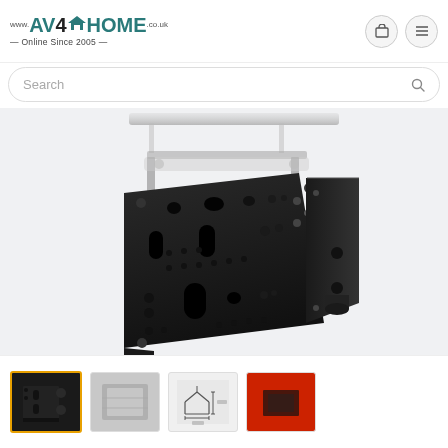www.AV4HOME.co.uk — Online Since 2005 —
[Figure (photo): AV4Home website logo with house icon, teal and black text, tagline Online Since 2005]
[Figure (screenshot): Search bar with magnifying glass icon]
[Figure (photo): Black TV wall mount bracket product photo showing the mounting plate with VESA holes and folding side arms, on white/grey background]
[Figure (photo): Thumbnail strip showing four product images: selected image of mount (yellow border), packaging photo, line drawing diagram, red background image]